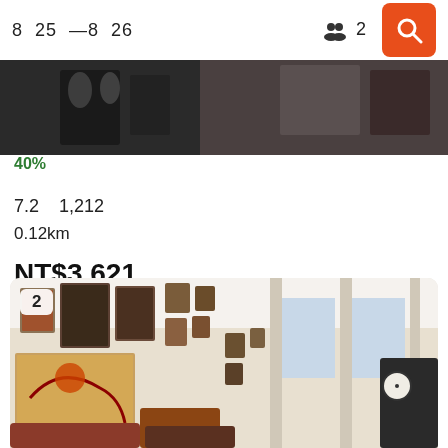8  25  —8  26  👥 2
[Figure (photo): Top portion of hotel/restaurant interior photo showing dining tables and chairs]
40%
7.2   1,212
0.12km
NT$3,621
[Figure (photo): Hotel lobby or lounge interior with many framed pictures on walls, arched windows, decorative artwork and vintage furnishings. Badge shows '2'.]